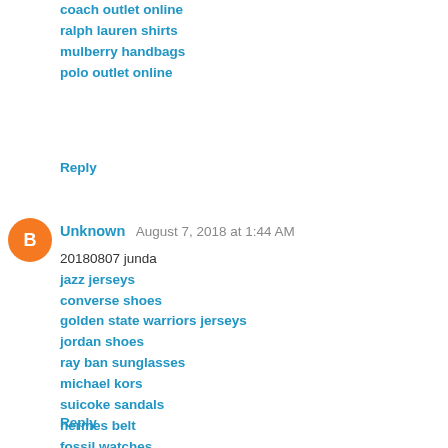coach outlet online
ralph lauren shirts
mulberry handbags
polo outlet online
Reply
[Figure (other): Blogger user avatar: orange circle with white B icon]
Unknown  August 7, 2018 at 1:44 AM
20180807 junda
jazz jerseys
converse shoes
golden state warriors jerseys
jordan shoes
ray ban sunglasses
michael kors
suicoke sandals
hermes belt
fossil watches
mont blanc pens
Reply